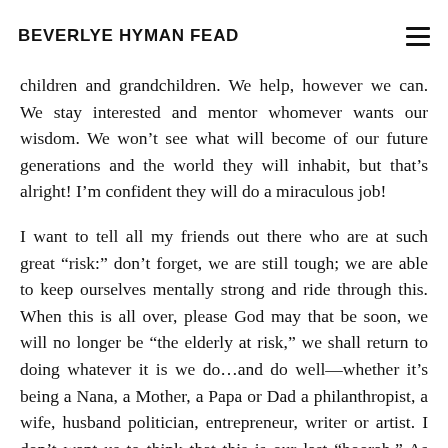BEVERLYE HYMAN FEAD
children and grandchildren. We help, however we can. We stay interested and mentor whomever wants our wisdom. We won't see what will become of our future generations and the world they will inhabit, but that's alright! I'm confident they will do a miraculous job!
I want to tell all my friends out there who are at such great “risk:” don’t forget, we are still tough; we are able to keep ourselves mentally strong and ride through this. When this is all over, please God may that be soon, we will no longer be “the elderly at risk,” we shall return to doing whatever it is we do…and do well—whether it’s being a Nana, a Mother, a Papa or Dad a philanthropist, a wife, husband politician, entrepreneur, writer or artist. I don’t want us to think that this is our last “hoorah.” As usual, I just want this to be a blip in the road. I think we are